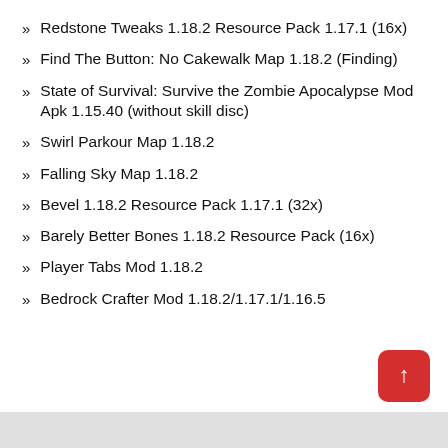Redstone Tweaks 1.18.2 Resource Pack 1.17.1 (16x)
Find The Button: No Cakewalk Map 1.18.2 (Finding)
State of Survival: Survive the Zombie Apocalypse Mod Apk 1.15.40 (without skill disc)
Swirl Parkour Map 1.18.2
Falling Sky Map 1.18.2
Bevel 1.18.2 Resource Pack 1.17.1 (32x)
Barely Better Bones 1.18.2 Resource Pack (16x)
Player Tabs Mod 1.18.2
Bedrock Crafter Mod 1.18.2/1.17.1/1.16.5